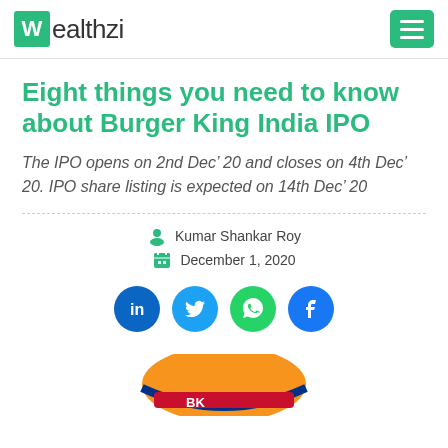Wealthzi
Eight things you need to know about Burger King India IPO
The IPO opens on 2nd Dec’ 20 and closes on 4th Dec’ 20. IPO share listing is expected on 14th Dec’ 20
Kumar Shankar Roy
December 1, 2020
[Figure (logo): Burger King India logo partially visible at bottom of page]